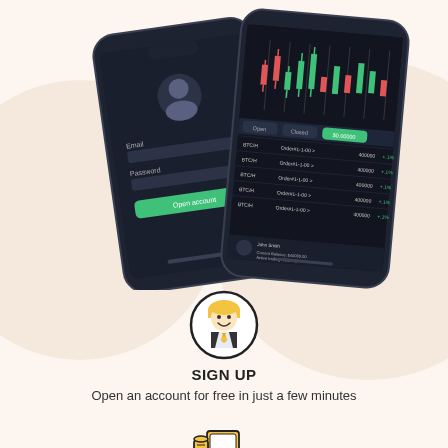[Figure (screenshot): Two smartphones showing a trading app. Left phone shows a login/signup screen with email and password fields and a green button on a dark background. Right phone shows a trading dashboard with candlestick charts and a table of trades on a dark background.]
[Figure (illustration): Circular icon of a businessman with blonde hair, smiling, wearing a suit with a yellow tie, outlined in black on white background.]
SIGN UP
Open an account for free in just a few minutes
[Figure (illustration): Icon of a person at a desk/workstation with a laptop or monitor, outline style with yellow/amber fill, representing practice or learning.]
PRACTICE